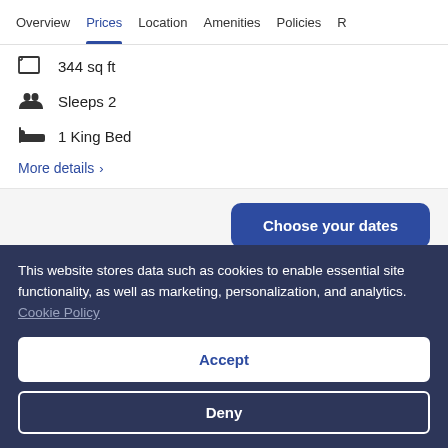Overview | Prices | Location | Amenities | Policies | R...
344 sq ft
Sleeps 2
1 King Bed
More details >
Choose your dates
This website stores data such as cookies to enable essential site functionality, as well as marketing, personalization, and analytics. Cookie Policy
Accept
Deny